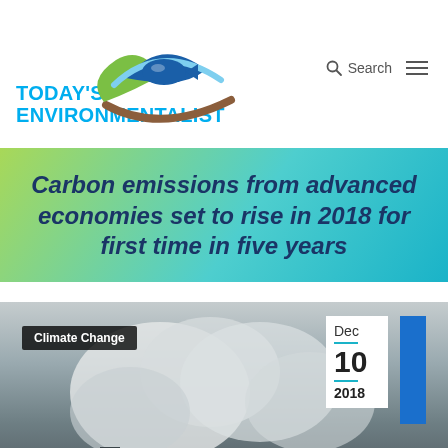[Figure (logo): Today's Environmentalist logo with circular leaf/fish/earth motif in blue, green, and brown]
TODAY'S ENVIRONMENTALIST
[Figure (other): Search icon and hamburger menu icon]
Carbon emissions from advanced economies set to rise in 2018 for first time in five years
[Figure (photo): Industrial smokestacks with large plumes of white/grey smoke against overcast sky, with Climate Change category badge and date Dec 10 2018]